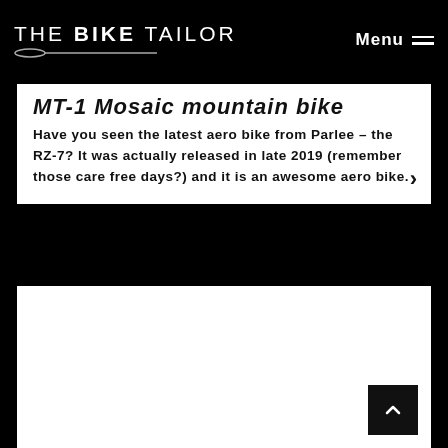THE BIKE TAILOR | Menu
MT-1 Mosaic mountain bike
Have you seen the latest aero bike from Parlee – the RZ-7? It was actually released in late 2019 (remember those care free days?) and it is an awesome aero bike.
[Figure (other): White content card area (second card, partially visible)]